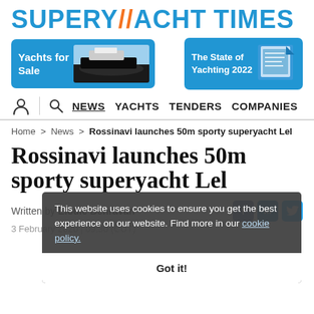[Figure (logo): Superyacht Times logo in blue with orange slash]
[Figure (infographic): Two ad banners: Yachts for Sale (blue, with yacht image) and The State of Yachting 2022 (blue, with book image)]
NEWS  YACHTS  TENDERS  COMPANIES
Home > News > Rossinavi launches 50m sporty superyacht Lel
This website uses cookies to ensure you get the best experience on our website. Find more in our cookie policy.
Got it!
Rossinavi launches 50m sporty superyacht Lel
Written by Elodie Behravan
3 February 2020 | 09:30 (CUT)